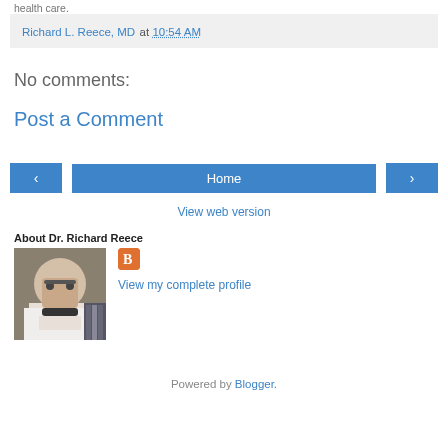health care.
Richard L. Reece, MD at 10:54 AM
No comments:
Post a Comment
‹  Home  ›
View web version
About Dr. Richard Reece
[Figure (photo): Portrait photo of Dr. Richard Reece, elderly man in white jacket with bow tie, in front of bookshelves]
View my complete profile
Powered by Blogger.